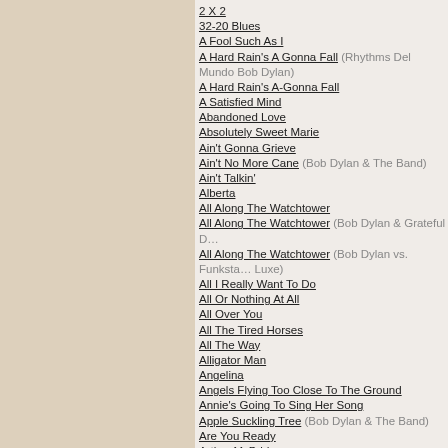2 X 2
32-20 Blues
A Fool Such As I
A Hard Rain's A Gonna Fall (Rhythms Del Mundo Bob Dylan)
A Hard Rain's A-Gonna Fall
A Satisfied Mind
Abandoned Love
Absolutely Sweet Marie
Ain't Gonna Grieve
Ain't No More Cane (Bob Dylan & The Band)
Ain't Talkin'
Alberta
All Along The Watchtower
All Along The Watchtower (Bob Dylan & Grateful Dead)
All Along The Watchtower (Bob Dylan vs. Funkstars De Luxe)
All I Really Want To Do
All Or Nothing At All
All Over You
All The Tired Horses
All The Way
Alligator Man
Angelina
Angels Flying Too Close To The Ground
Annie's Going To Sing Her Song
Apple Suckling Tree (Bob Dylan & The Band)
Are You Ready
Arthur McBride
As I Went Out One Morning
As Time Goes By
Autumn Leaves
Baby Stop Crying
Baby, I'm In The Mood For You
Baby, Let Me Follow You Down
Ballad For A Friend
Ballad In Plain D
Ballad Of A Thin Man